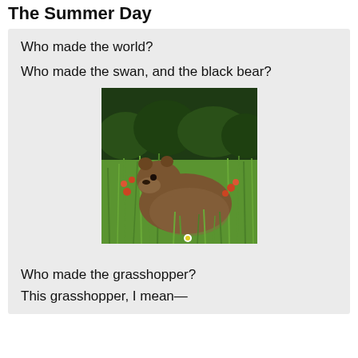The Summer Day
Who made the world?
Who made the swan, and the black bear?
[Figure (photo): A brown bear sitting among tall green grass and wildflowers including red/orange flowers, in a natural outdoor setting with dense green foliage in the background.]
Who made the grasshopper?
This grasshopper, I mean—